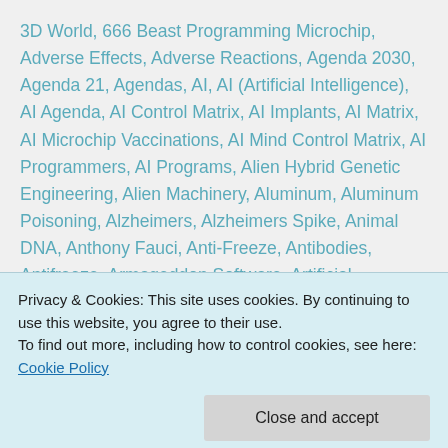3D World, 666 Beast Programming Microchip, Adverse Effects, Adverse Reactions, Agenda 2030, Agenda 21, Agendas, AI, AI (Artificial Intelligence), AI Agenda, AI Control Matrix, AI Implants, AI Matrix, AI Microchip Vaccinations, AI Mind Control Matrix, AI Programmers, AI Programs, Alien Hybrid Genetic Engineering, Alien Machinery, Aluminum, Aluminum Poisoning, Alzheimers, Alzheimers Spike, Animal DNA, Anthony Fauci, Anti-Freeze, Antibodies, Antifreeze, Armageddon Software, Artificial Intelligence, Artificial Intelligence (AI), Artificial Technology, Ascension, Ascension Guidance, Ascension Phase, Ascension update, Autism,
Privacy & Cookies: This site uses cookies. By continuing to use this website, you agree to their use.
To find out more, including how to control cookies, see here: Cookie Policy
Worshippers, Brain Damage, Brain Health, Brain Damaging